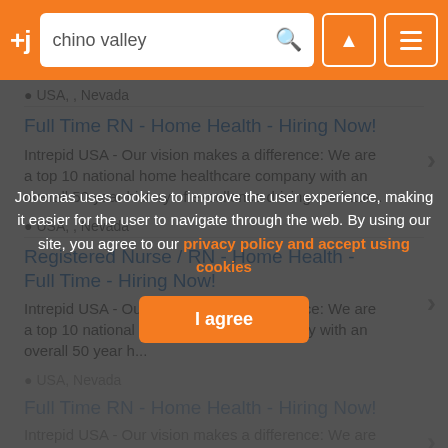+j — chino valley (search bar with filter and menu icons)
📍 USA, , Nevada
Full Time RN - Home Health - Hiring Now!
Intrepid USA - Our vision makes a difference: We are a top 10 national home healthcare company with an overall 50 year history of excellence driving our futur...
📍 USA, , Nevada
Registered Nurse / RN - Home Health - Full Time - Hiring Now!
Intrepid USA - Our vision makes a difference: We are a top 10 national home healthcare company with an overall 50 year h...
📍 USA, Nevada
Full Time RN - Home Health - Hiring Now!
Intrepid USA - Our vision makes a difference: We are a top 10 national home healthcare company with an overall 50 year
Jobomas uses cookies to improve the user experience, making it easier for the user to navigate through the web. By using our site, you agree to our privacy policy and accept using cookies
I agree